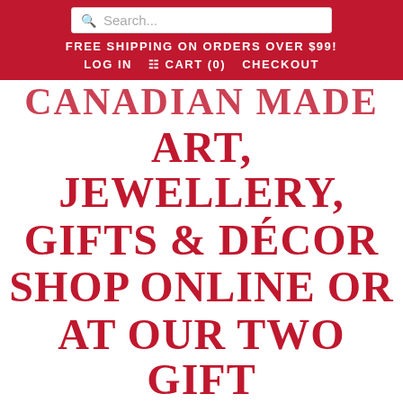Search...
FREE SHIPPING ON ORDERS OVER $99!
LOG IN  CART (0)  CHECKOUT
CANADIAN MADE ART, JEWELLERY, GIFTS & DÉCOR SHOP ONLINE OR AT OUR TWO GIFT GALLERIES IN CANADA'S CAPITAL OTTAWA